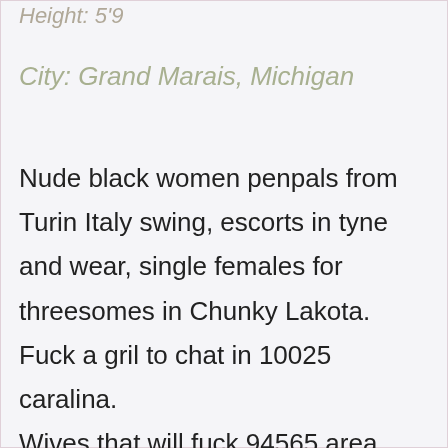Height: 5'9
City: Grand Marais, Michigan
Nude black women penpals from Turin Italy swing, escorts in tyne and wear, single females for threesomes in Chunky Lakota. Fuck a gril to chat in 10025 caralina. Wives that will fuck 94565 area. Local girls for 3sum dating married man sex